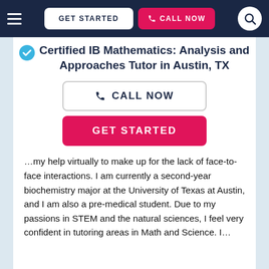GET STARTED  CALL NOW
Certified IB Mathematics: Analysis and Approaches Tutor in Austin, TX
CALL NOW
GET STARTED
…my help virtually to make up for the lack of face-to-face interactions. I am currently a second-year biochemistry major at the University of Texas at Austin, and I am also a pre-medical student. Due to my passions in STEM and the natural sciences, I feel very confident in tutoring areas in Math and Science. I…